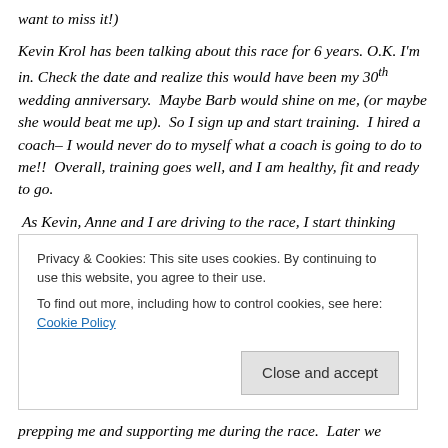want to miss it!)
Kevin Krol has been talking about this race for 6 years. O.K. I'm in. Check the date and realize this would have been my 30th wedding anniversary. Maybe Barb would shine on me, (or maybe she would beat me up). So I sign up and start training. I hired a coach– I would never do to myself what a coach is going to do to me!! Overall, training goes well, and I am healthy, fit and ready to go.
As Kevin, Anne and I are driving to the race, I start thinking these are not little hills here. Oh No! What did I
Privacy & Cookies: This site uses cookies. By continuing to use this website, you agree to their use. To find out more, including how to control cookies, see here: Cookie Policy
prepping me and supporting me during the race. Later we